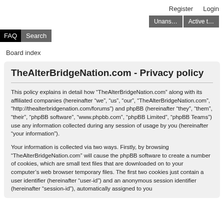Register   Login
Unans...   Active t...
FAQ  Search
Board index
TheAlterBridgeNation.com - Privacy policy
This policy explains in detail how “TheAlterBridgeNation.com” along with its affiliated companies (hereinafter “we”, “us”, “our”, “TheAlterBridgeNation.com”, “http://thealterbridgenation.com/forums”) and phpBB (hereinafter “they”, “them”, “their”, “phpBB software”, “www.phpbb.com”, “phpBB Limited”, “phpBB Teams”) use any information collected during any session of usage by you (hereinafter “your information”).
Your information is collected via two ways. Firstly, by browsing “TheAlterBridgeNation.com” will cause the phpBB software to create a number of cookies, which are small text files that are downloaded on to your computer’s web browser temporary files. The first two cookies just contain a user identifier (hereinafter “user-id”) and an anonymous session identifier (hereinafter “session-id”), automatically assigned to you by the phpBB software. A third cookie will be created once you have browsed topics within “TheAlterBridgeNation.com” and is used to store which topics have been read, thereby improving your user experience.